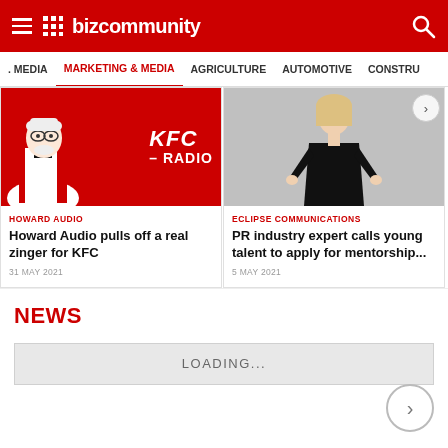Bizcommunity
. MEDIA | MARKETING & MEDIA | AGRICULTURE | AUTOMOTIVE | CONSTRU
[Figure (screenshot): KFC Radio advertisement banner with Colonel Sanders on red background]
HOWARD AUDIO
Howard Audio pulls off a real zinger for KFC
31 MAY 2021
[Figure (photo): Woman in black dress posing against grey background]
ECLIPSE COMMUNICATIONS
PR industry expert calls young talent to apply for mentorship...
5 MAY 2021
NEWS
LOADING...